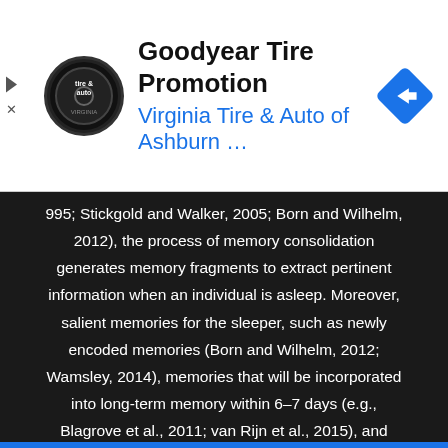[Figure (other): Goodyear Tire Promotion advertisement banner for Virginia Tire & Auto of Ashburn with logo and navigation icon]
995; Stickgold and Walker, 2005; Born and Wilhelm, 2012), the process of memory consolidation generates memory fragments to extract pertinent information when an individual is asleep. Moreover, salient memories for the sleeper, such as newly encoded memories (Born and Wilhelm, 2012; Wamsley, 2014), memories that will be incorporated into long-term memory within 6–7 days (e.g., Blagrove et al., 2011; van Rijn et al., 2015), and corresponding long-term memories (Lewis and Durrant, 2011), are preferentially activated and then manifested in dream content. In addition, rapid eye movement (REM) sleep and non-REM (NREM) sleep refer to the processing of different types of memories: REM sleep is primarily implicated in emotional